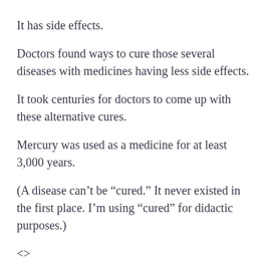It has side effects.
Doctors found ways to cure those several diseases with medicines having less side effects.
It took centuries for doctors to come up with these alternative cures.
Mercury was used as a medicine for at least 3,000 years.
(A disease can’t be “cured.” It never existed in the first place. I’m using “cured” for didactic purposes.)
<>
William Cullen (Professor Cullen’s Treatise of the Materia Medica: With Large Additions, Including Many